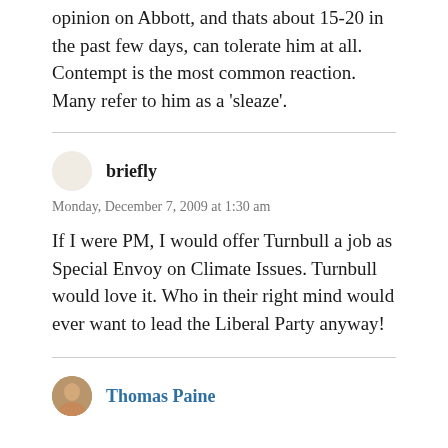opinion on Abbott, and thats about 15-20 in the past few days, can tolerate him at all. Contempt is the most common reaction. Many refer to him as a ‘sleaze’.
briefly
Monday, December 7, 2009 at 1:30 am
If I were PM, I would offer Turnbull a job as Special Envoy on Climate Issues. Turnbull would love it. Who in their right mind would ever want to lead the Liberal Party anyway!
Thomas Paine